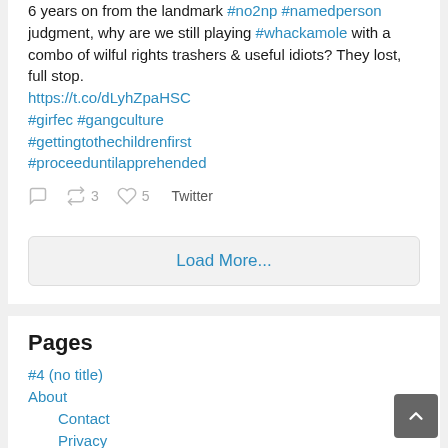6 years on from the landmark #no2np #namedperson judgment, why are we still playing #whackamole with a combo of wilful rights trashers & useful idiots? They lost, full stop. https://t.co/dLyhZpaHSC #girfec #gangculture #gettingtothechildrenfirst #proceeduntilapprehended
Reply 0 | Retweet 3 | Like 5 | Twitter
Load More...
Pages
#4 (no title)
About
Contact
Privacy
Blog
Business